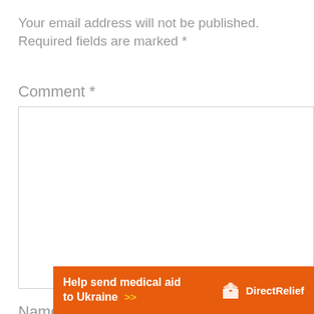Your email address will not be published. Required fields are marked *
Comment *
[Figure (other): Empty comment text area input box with light gray border]
Name *
[Figure (other): Orange banner ad: 'Help send medical aid to Ukraine >>' with Direct Relief logo on right]